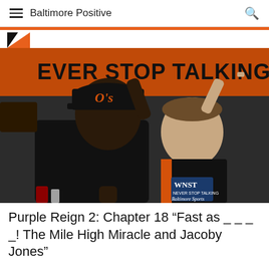Baltimore Positive
[Figure (photo): Two men posing in front of a WNST Baltimore Sports AM 1570 'Never Stop Talking' banner. The man on the left is a Black man wearing a black Baltimore Orioles cap and black t-shirt giving a thumbs up. The man on the right is a white man wearing a black and orange WNST jacket. Both are making playful finger-gun gestures near their heads.]
Purple Reign 2: Chapter 18 “Fast as _ _ _ _! The Mile High Miracle and Jacoby Jones”